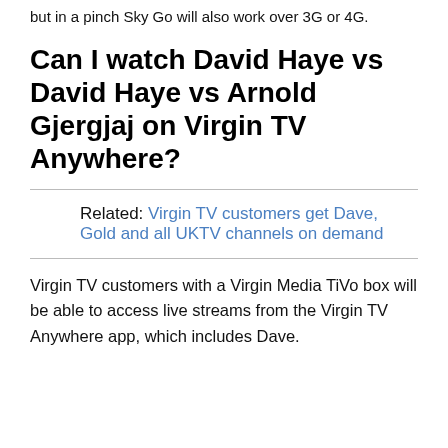but in a pinch Sky Go will also work over 3G or 4G.
Can I watch David Haye vs David Haye vs Arnold Gjergjaj on Virgin TV Anywhere?
Related: Virgin TV customers get Dave, Gold and all UKTV channels on demand
Virgin TV customers with a Virgin Media TiVo box will be able to access live streams from the Virgin TV Anywhere app, which includes Dave.